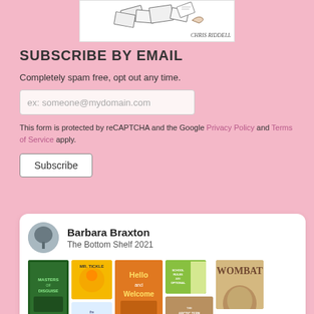[Figure (illustration): Sketch illustration of books and papers, with 'CHRIS RIDDELL' signature]
SUBSCRIBE BY EMAIL
Completely spam free, opt out any time.
[Figure (other): Email input field with placeholder text: ex: someone@mydomain.com]
This form is protected by reCAPTCHA and the Google Privacy Policy and Terms of Service apply.
Subscribe
Barbara Braxton
The Bottom Shelf 2021
[Figure (photo): Grid of book covers including Masters of Disguise, Mr. Tickle, Hello and Welcome, School Rules are Optional, Class Full of Liters, Wombat, How a Recycling Truck Works, The Bird in the Herd, The Arctic Tern]